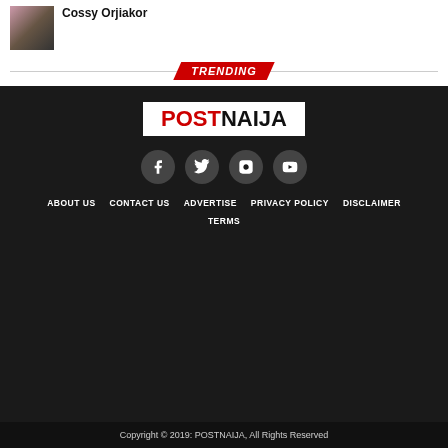[Figure (photo): Thumbnail photo of Cossy Orjiakor]
Cossy Orjiakor
TRENDING
[Figure (logo): POSTNAIJA logo in red and black on white background]
[Figure (other): Social media icons: Facebook, Twitter, Instagram, YouTube]
ABOUT US
CONTACT US
ADVERTISE
PRIVACY POLICY
DISCLAIMER
TERMS
Copyright © 2019: POSTNAIJA, All Rights Reserved